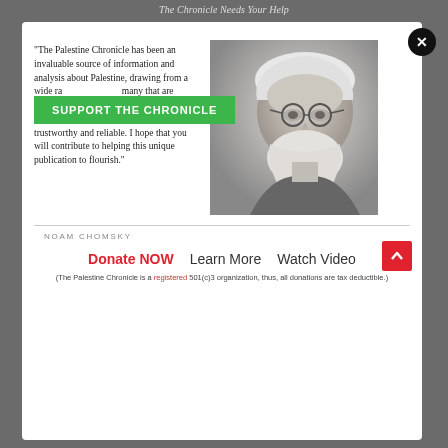The Chronicle Needs Your Help
"The Palestine Chronicle has been an invaluable source of information and analysis about Palestine, drawing from a wide range of sources, many that are otherwise inaccessible to the concerned public. An independent voice, it has been trustworthy and reliable. I hope that you will contribute to helping this unique publication to flourish."
[Figure (photo): Black and white portrait photograph of Noam Chomsky, an elderly man with white hair and beard, wearing glasses]
SUPPORT THE CHRONICLE
NOAM CHOMSKY
Donate NOW   Learn More   Watch Video
(The Palestine Chronicle is a registered 501(c)3 organization, thus, all donations are tax deductible.)